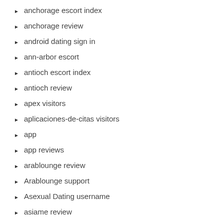anchorage escort index
anchorage review
android dating sign in
ann-arbor escort
antioch escort index
antioch review
apex visitors
aplicaciones-de-citas visitors
app
app reviews
arablounge review
Arablounge support
Asexual Dating username
asiame review